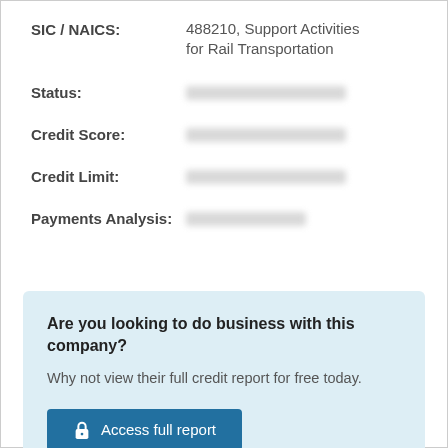SIC / NAICS: 488210, Support Activities for Rail Transportation
Status: [redacted]
Credit Score: [redacted]
Credit Limit: [redacted]
Payments Analysis: [redacted]
Are you looking to do business with this company? Why not view their full credit report for free today.
Access full report